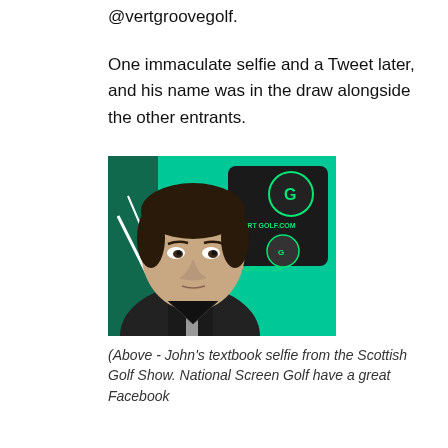@vertgroovegolf.
One immaculate selfie and a Tweet later, and his name was in the draw alongside the other entrants.
[Figure (photo): A man taking a selfie at what appears to be a golf show or exhibition, with green-themed displays and a black golf bag branded with 'VERTGOLF.COM' logo visible in the background.]
(Above - John's textbook selfie from the Scottish Golf Show. National Screen Golf have a great Facebook...